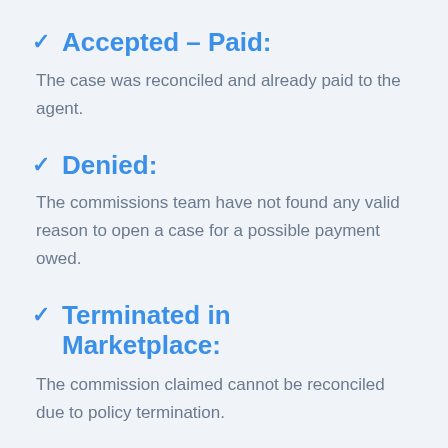Accepted – Paid:
The case was reconciled and already paid to the agent.
Denied:
The commissions team have not found any valid reason to open a case for a possible payment owed.
Terminated in Marketplace:
The commission claimed cannot be reconciled due to policy termination.